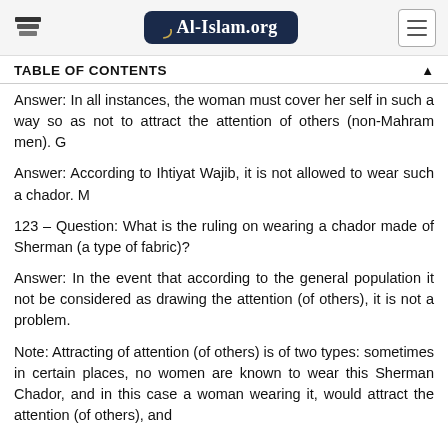Al-Islam.org
TABLE OF CONTENTS
Answer: In all instances, the woman must cover her self in such a way so as not to attract the attention of others (non-Mahram men). G
Answer: According to Ihtiyat Wajib, it is not allowed to wear such a chador. M
123 – Question: What is the ruling on wearing a chador made of Sherman (a type of fabric)?
Answer: In the event that according to the general population it not be considered as drawing the attention (of others), it is not a problem.
Note: Attracting of attention (of others) is of two types: sometimes in certain places, no women are known to wear this Sherman Chador, and in this case a woman wearing it, would attract the attention (of others), and